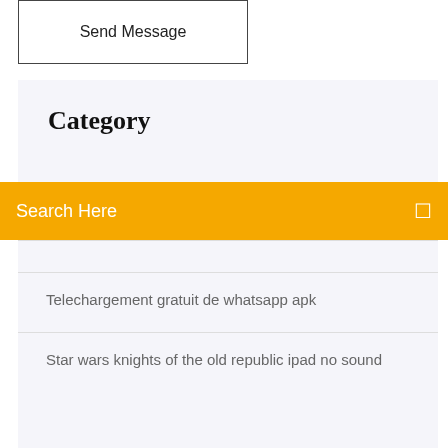Send Message
Category
Search Here
Telechargement gratuit de whatsapp apk
Star wars knights of the old republic ipad no sound